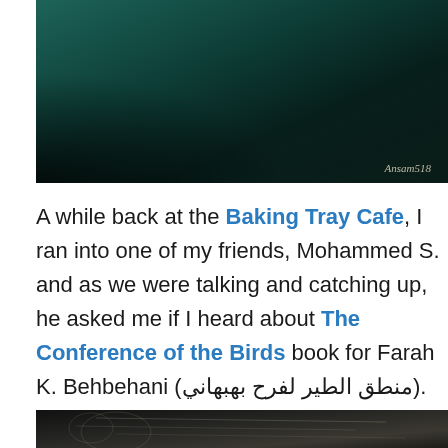[Figure (photo): Dark teal/green book cover photo with watermark 'Ansam518' in bottom right corner]
A while back at the Baking Tray Cafe, I ran into one of my friends, Mohammed S. and as we were talking and catching up, he asked me if I heard about The Conference of the Birds book for Farah K. Behbehani (منطق الطير لفرح بهبهاني).
[Figure (photo): Dark photograph showing what appears to be illustrated/map pages of a book]